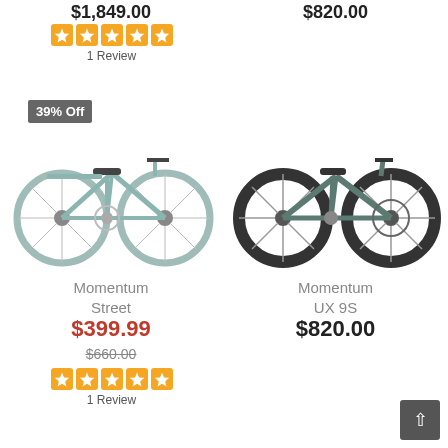$1,849.00
$820.00
[Figure (other): Five orange star rating boxes]
1 Review
39% Off
[Figure (photo): Momentum Street bicycle — teal/green city bike with rear rack and fenders]
[Figure (photo): Momentum UX 9S bicycle — dark teal flat-bar urban bike with disc brakes]
Momentum Street
Momentum UX 9S
$399.99
$820.00
$660.00
[Figure (other): Five orange star rating boxes]
1 Review